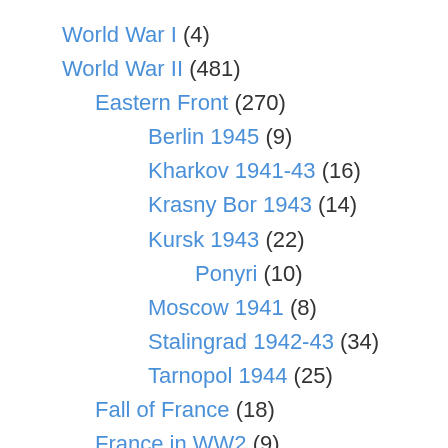World War I (4)
World War II (481)
Eastern Front (270)
Berlin 1945 (9)
Kharkov 1941-43 (16)
Krasny Bor 1943 (14)
Kursk 1943 (22)
Ponyri (10)
Moscow 1941 (8)
Stalingrad 1942-43 (34)
Tarnopol 1944 (25)
Fall of France (18)
France in WW2 (9)